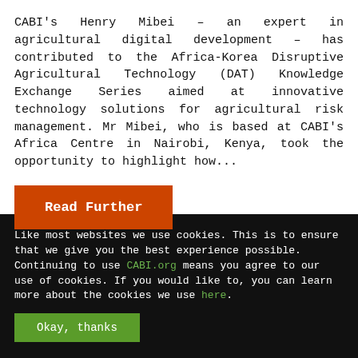CABI's Henry Mibei – an expert in agricultural digital development – has contributed to the Africa-Korea Disruptive Agricultural Technology (DAT) Knowledge Exchange Series aimed at innovative technology solutions for agricultural risk management. Mr Mibei, who is based at CABI's Africa Centre in Nairobi, Kenya, took the opportunity to highlight how...
Read Further
Like most websites we use cookies. This is to ensure that we give you the best experience possible. Continuing to use CABI.org means you agree to our use of cookies. If you would like to, you can learn more about the cookies we use here.
Okay, thanks